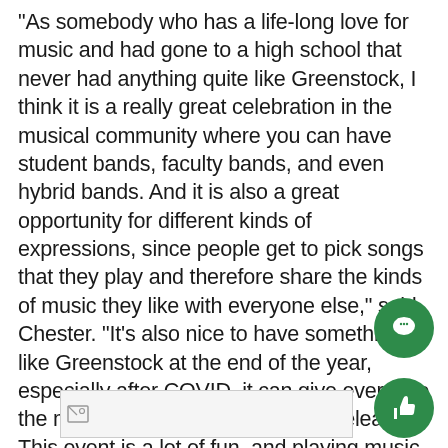“As somebody who has a life-long love for music and had gone to a high school that never had anything quite like Greenstock, I think it is a really great celebration in the musical community where you can have student bands, faculty bands, and even hybrid bands. And it is also a great opportunity for different kinds of expressions, since people get to pick songs that they play and therefore share the kinds of music they like with everyone else,” said Chester. “It’s also nice to have something like Greenstock at the end of the year, especially after COVID, it can give everyone the much needed celebration and release. This event is a lot of fun, and playing music with other people is also one of my favorite things, so I am glad that we are able to do it this year at Greenstock.”
[Figure (photo): Image placeholder with broken image icon at bottom of page]